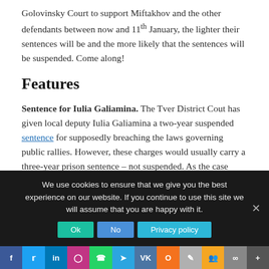Golovinsky Court to support Miftakhov and the other defendants between now and 11th January, the lighter their sentences will be and the more likely that the sentences will be suspended. Come along!
Features
Sentence for Iulia Galiamina. The Tver District Cout has given local deputy Iulia Galiamina a two-year suspended sentence for supposedly breaching the laws governing public rallies. However, these charges would usually carry a three-year prison sentence – not suspended. As the case draws to a close, Aleksandr Litoi tells all about Galiamina –
We use cookies to ensure that we give you the best experience on our website. If you continue to use this site we will assume that you are happy with it.